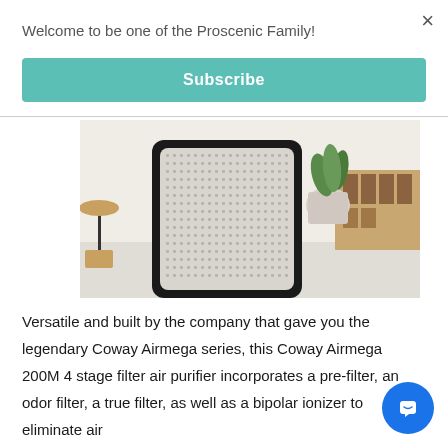×
Welcome to be one of the Proscenic Family!
Subscribe
[Figure (photo): Close-up photo of a Coway Airmega air purifier with a black frame and white mesh front grille, sitting on a white fluffy rug in a living room setting with a plant and wooden furniture in the background.]
Versatile and built by the company that gave you the legendary Coway Airmega series, this Coway Airmega 200M 4 stage filter air purifier incorporates a pre-filter, an odor filter, a true filter, as well as a bipolar ionizer to eliminate air